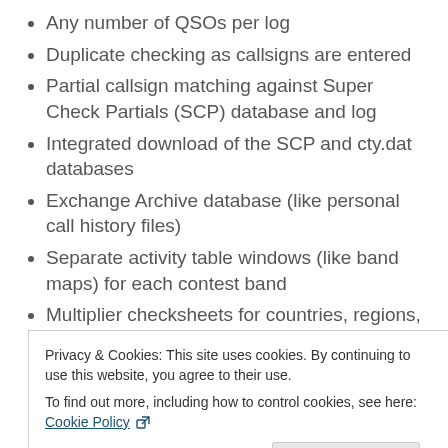Any number of QSOs per log
Duplicate checking as callsigns are entered
Partial callsign matching against Super Check Partials (SCP) database and log
Integrated download of the SCP and cty.dat databases
Exchange Archive database (like personal call history files)
Separate activity table windows (like band maps) for each contest band
Multiplier checksheets for countries, regions,
Privacy & Cookies: This site uses cookies. By continuing to use this website, you agree to their use.
To find out more, including how to control cookies, see here: Cookie Policy
Close and accept
with skimmer and OSX support